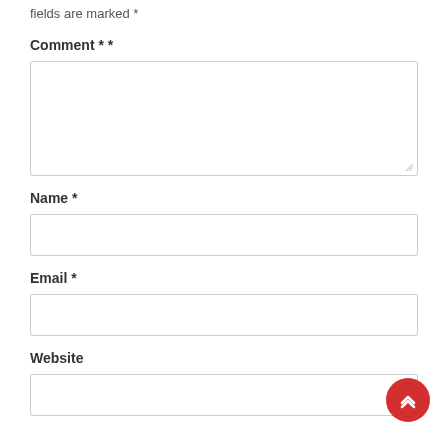fields are marked *
Comment * *
Name *
Email *
Website